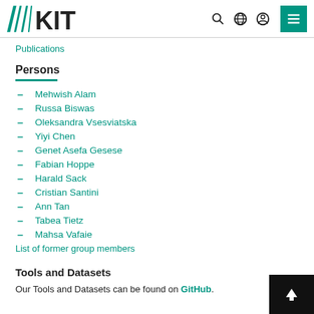KIT logo and navigation icons
Publications
Persons
Mehwish Alam
Russa Biswas
Oleksandra Vsesviatska
Yiyi Chen
Genet Asefa Gesese
Fabian Hoppe
Harald Sack
Cristian Santini
Ann Tan
Tabea Tietz
Mahsa Vafaie
List of former group members
Tools and Datasets
Our Tools and Datasets can be found on GitHub.